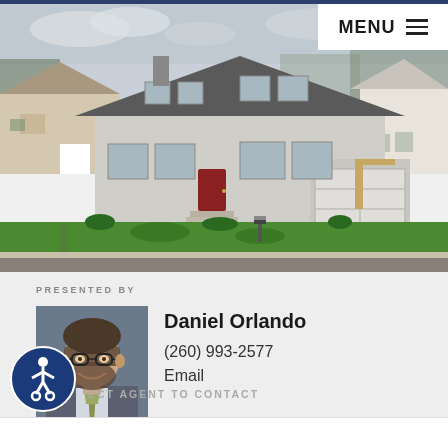[Figure (photo): Aerial/elevated photo of a two-story suburban house with gray siding, dark roof, red front door, attached garage, concrete driveway, green lawn, and neighboring houses visible]
MENU ≡
PRESENTED BY
[Figure (photo): Headshot of Daniel Orlando, a man with glasses and a beard wearing a gray suit and floral tie, smiling]
Daniel Orlando
(260) 993-2577
Email
ECT AGENT TO CONTACT